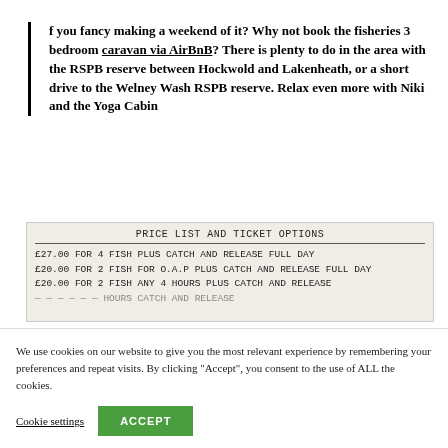f you fancy making a weekend of it? Why not book the fisheries 3 bedroom caravan via AirBnB? There is plenty to do in the area with the RSPB reserve between Hockwold and Lakenheath, or a short drive to the Welney Wash RSPB reserve. Relax even more with Niki and the Yoga Cabin
[Figure (photo): Handwritten price list on paper reading: PRICE LIST AND TICKET OPTIONS. £27.00 FOR 4 FISH PLUS CATCH AND RELEASE FULL DAY. £20.00 FOR 2 FISH FOR O.A.P PLUS CATCH AND RELEASE FULL DAY. £20.00 FOR 2 FISH ANY 4 HOURS PLUS CATCH AND RELEASE. (partially cut off line below)]
We use cookies on our website to give you the most relevant experience by remembering your preferences and repeat visits. By clicking "Accept", you consent to the use of ALL the cookies.
Cookie settings | ACCEPT